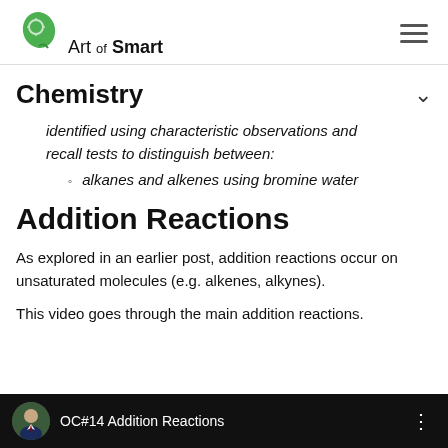Art of Smart
Chemistry
identified using characteristic observations and recall tests to distinguish between:
alkanes and alkenes using bromine water
Addition Reactions
As explored in an earlier post, addition reactions occur on unsaturated molecules (e.g. alkenes, alkynes).
This video goes through the main addition reactions.
[Figure (screenshot): Video player bar showing OC#14 Addition Reactions with a circular avatar photo of a man in a suit, white text on black background, with a three-dot menu icon on the right.]